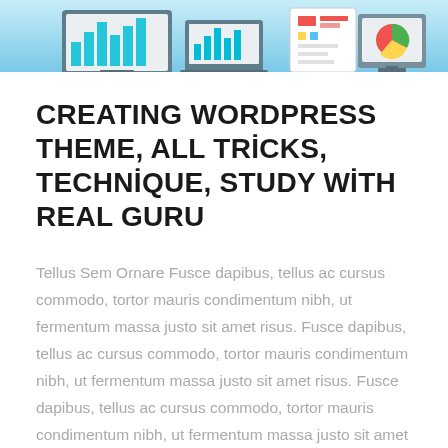[Figure (illustration): Banner illustration showing computer monitors with colorful charts and graphs on a light blue background]
CREATING WORDPRESS THEME, ALL TRICKS, TECHNIQUE, STUDY WITH REAL GURU
Tellus Sem Ornare Fusce dapibus, tellus ac cursus commodo, tortor mauris condimentum nibh, ut fermentum massa justo sit amet risus. Fusce dapibus, tellus ac cursus commodo, tortor mauris condimentum nibh, ut fermentum massa justo sit amet risus. Fusce dapibus, tellus ac cursus commodo, tortor mauris condimentum nibh, ut fermentum massa justo sit amet risus. Aenean...